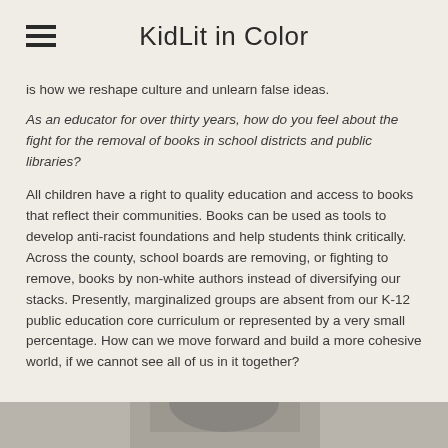KidLit in Color
is how we reshape culture and unlearn false ideas.
As an educator for over thirty years, how do you feel about the fight for the removal of books in school districts and public libraries?
All children have a right to quality education and access to books that reflect their communities. Books can be used as tools to develop anti-racist foundations and help students think critically. Across the county, school boards are removing, or fighting to remove, books by non-white authors instead of diversifying our stacks. Presently, marginalized groups are absent from our K-12 public education core curriculum or represented by a very small percentage. How can we move forward and build a more cohesive world, if we cannot see all of us in it together?
[Figure (photo): Bottom portion of a photograph showing a person, partially visible at the bottom of the page.]